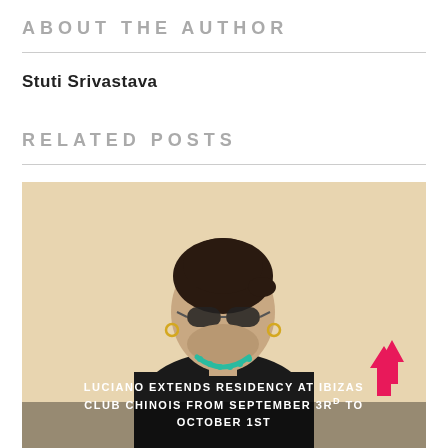ABOUT THE AUTHOR
Stuti Srivastava
RELATED POSTS
[Figure (photo): Photo of a man with sunglasses, hoop earrings, a teal beaded necklace, and black t-shirt against a beige/tan background. Overlay text reads: LUCIANO EXTENDS RESIDENCY AT IBIZAS CLUB CHINOIS FROM SEPTEMBER 3RD TO OCTOBER 1ST. A pink upward arrow is visible in the bottom right.]